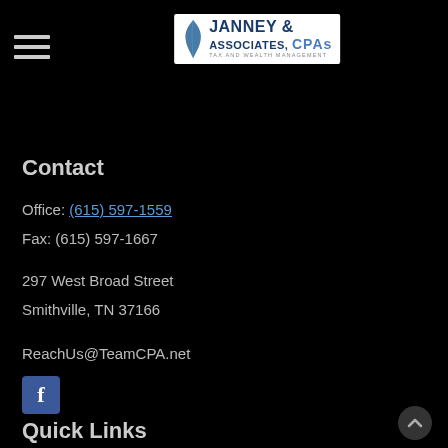[Figure (logo): Janney & Associates, CPAs - Tax and Wealth Management logo with leaf graphic on white background]
Contact
Office: (615) 597-1559
Fax: (615) 597-1667
297 West Broad Street
Smithville, TN 37166
ReachUs@TeamCPA.net
[Figure (logo): Facebook social media button icon - blue square with white f]
Quick Links